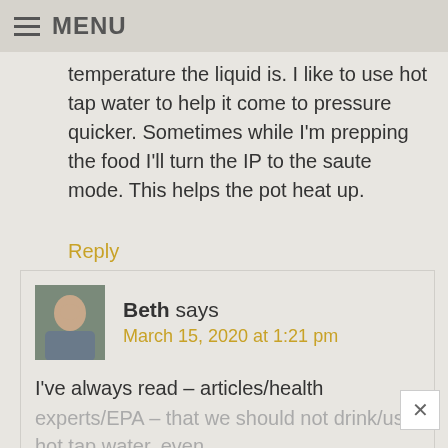MENU
temperature the liquid is. I like to use hot tap water to help it come to pressure quicker. Sometimes while I'm prepping the food I'll turn the IP to the saute mode. This helps the pot heat up.
Reply
Beth says
March 15, 2020 at 1:21 pm
I've always read – articles/health experts/EPA – that we should not drink/use hot tap water, even